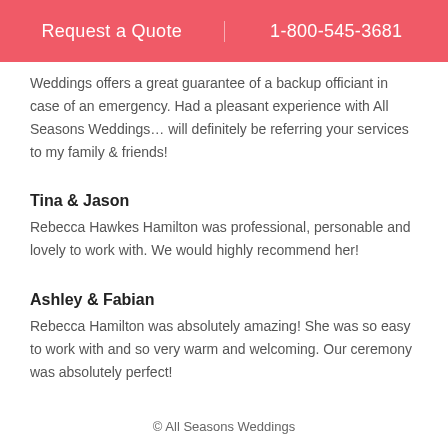Request a Quote | 1-800-545-3681
Weddings offers a great guarantee of a backup officiant in case of an emergency. Had a pleasant experience with All Seasons Weddings… will definitely be referring your services to my family & friends!
Tina & Jason
Rebecca Hawkes Hamilton was professional, personable and lovely to work with. We would highly recommend her!
Ashley & Fabian
Rebecca Hamilton was absolutely amazing! She was so easy to work with and so very warm and welcoming. Our ceremony was absolutely perfect!
© All Seasons Weddings